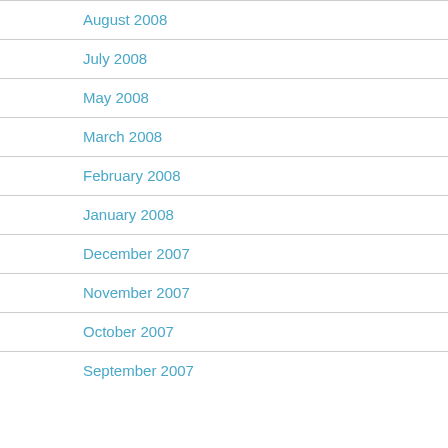August 2008
July 2008
May 2008
March 2008
February 2008
January 2008
December 2007
November 2007
October 2007
September 2007